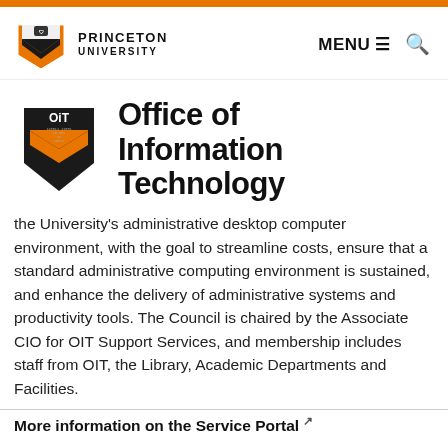Princeton University — MENU ☰ 🔍
[Figure (logo): OIT shield logo with orange and black Princeton chevron design, labeled OIT with binary code text]
Office of Information Technology
the University's administrative desktop computer environment, with the goal to streamline costs, ensure that a standard administrative computing environment is sustained, and enhance the delivery of administrative systems and productivity tools. The Council is chaired by the Associate CIO for OIT Support Services, and membership includes staff from OIT, the Library, Academic Departments and Facilities.
More information on the Service Portal ↗